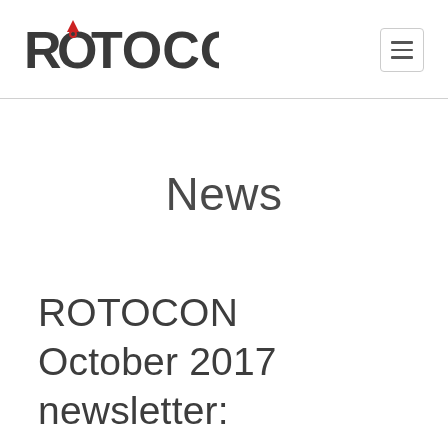[Figure (logo): ROTOCON logo with red downward-pointing triangle/medal graphic above the letter O]
News
ROTOCON October 2017 newsletter: